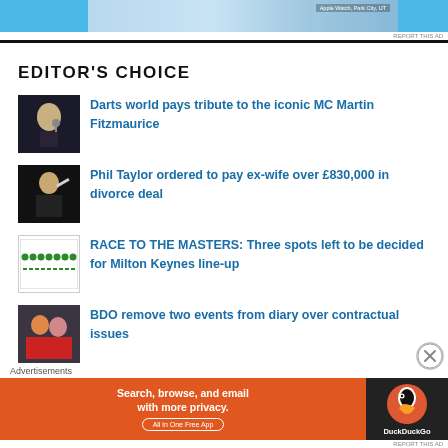[Figure (photo): Top advertisement banner with blue sections and palm tree image, Apple Watch text visible]
REPORT THIS AD
EDITOR'S CHOICE
[Figure (photo): Thumbnail of MC Martin Fitzmaurice in a tuxedo with microphone]
Darts world pays tribute to the iconic MC Martin Fitzmaurice
[Figure (photo): Thumbnail of Phil Taylor playing darts on stage]
Phil Taylor ordered to pay ex-wife over £830,000 in divorce deal
[Figure (other): Race to the Masters logo/graphic with dots and dashes]
RACE TO THE MASTERS: Three spots left to be decided for Milton Keynes line-up
[Figure (photo): Thumbnail of BDO related photo, two people visible]
BDO remove two events from diary over contractual issues
Advertisements
[Figure (other): DuckDuckGo advertisement banner: Search, browse, and email with more privacy. All in One Free App]
REPORT THIS AD